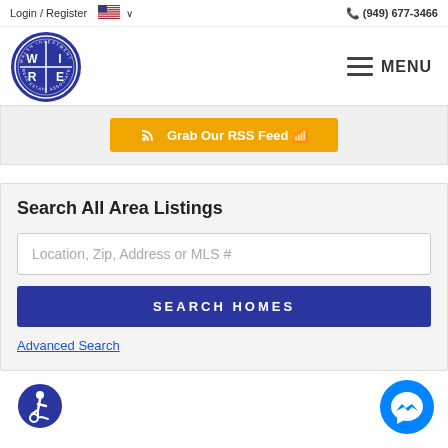Login / Register   🇺🇸 ∨   📞 (949) 677-3466
[Figure (logo): Walsh Investment Real Estate Associates (WIRE) circular blue logo with W|I and R|E lettering]
≡ MENU
[Figure (other): Orange button: Grab Our RSS Feed with RSS icon]
Search All Area Listings
Location, Zip, Address or MLS #
SEARCH HOMES
Advanced Search
[Figure (illustration): Blue circular accessibility icon (wheelchair user symbol)]
[Figure (illustration): Blue circular Messenger chat icon]